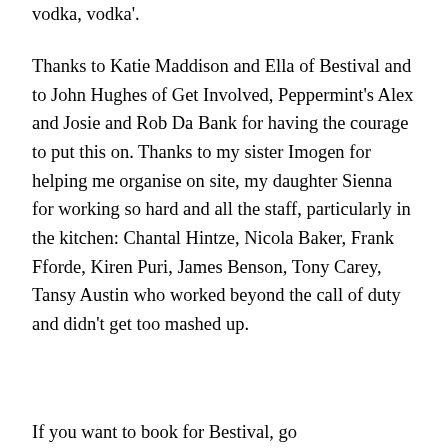vodka, vodka'.
Thanks to Katie Maddison and Ella of Bestival and to John Hughes of Get Involved, Peppermint's Alex and Josie and Rob Da Bank for having the courage to put this on. Thanks to my sister Imogen for helping me organise on site, my daughter Sienna for working so hard and all the staff, particularly in the kitchen: Chantal Hintze, Nicola Baker, Frank Fforde, Kiren Puri, James Benson, Tony Carey, Tansy Austin who worked beyond the call of duty and didn't get too mashed up.
If you want to book for Bestival, go